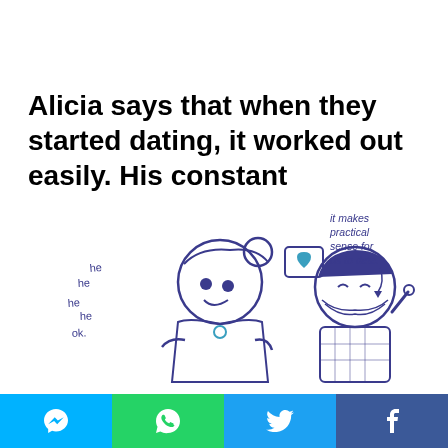Alicia says that when they started dating, it worked out easily. His constant “lectures” on how he loved her “seemed to work”.
[Figure (illustration): Cartoon illustration of a girl looking down with 'he he he he ok.' speech text, and a boy holding up a finger with a heart-screen device, saying 'it makes practical sense for us to date.']
[Figure (infographic): Social sharing bar at the bottom with four buttons: Messenger (blue), WhatsApp (green), Twitter (light blue), Facebook (dark blue), each with their respective icons in white.]